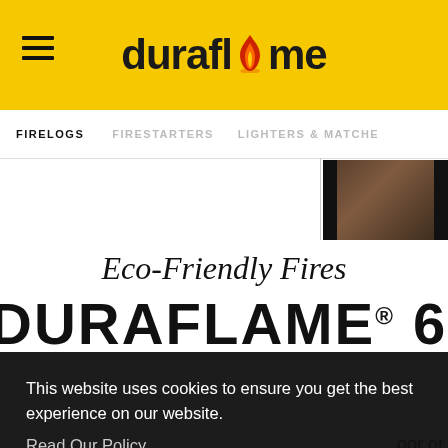duraflame
FIRELOGS   FIRESTARTERS   LIGHTERS & MATCHES
[Figure (photo): Small thumbnail image of a fireplace/firelog product in dark tones]
Eco-Friendly Fires
DURAFLAME® 6LB 100%
This website uses cookies to ensure you get the best experience on our website.
Read Our Policy
Close
oor or